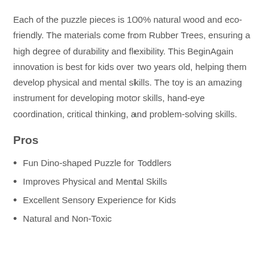Each of the puzzle pieces is 100% natural wood and eco-friendly. The materials come from Rubber Trees, ensuring a high degree of durability and flexibility. This BeginAgain innovation is best for kids over two years old, helping them develop physical and mental skills. The toy is an amazing instrument for developing motor skills, hand-eye coordination, critical thinking, and problem-solving skills.
Pros
Fun Dino-shaped Puzzle for Toddlers
Improves Physical and Mental Skills
Excellent Sensory Experience for Kids
Natural and Non-Toxic